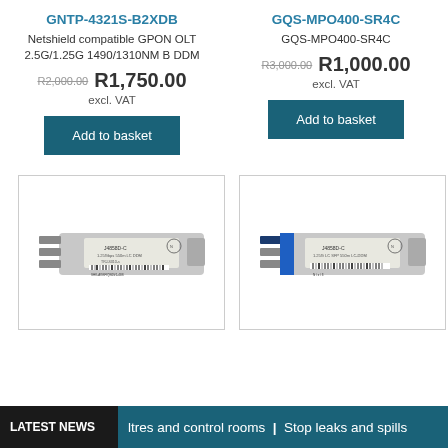GNTP-4321S-B2XDB
Netshield compatible GPON OLT 2.5G/1.25G 1490/1310NM B DDM
R2,000.00  R1,750.00 excl. VAT
Add to basket
GQS-MPO400-SR4C
GQS-MPO400-SR4C
R3,000.00  R1,000.00 excl. VAT
Add to basket
[Figure (photo): SFP transceiver module J4858D-C, 1.25Gbps, 550m, LC DDM, silver colored, side view]
[Figure (photo): SFP transceiver module J4858D-C, 1.25G LC SFP 550m, with blue connector, side view]
LATEST NEWS   ltres and control rooms | Stop leaks and spills